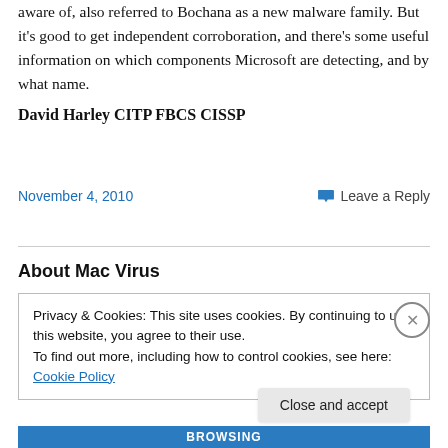aware of, also referred to Bochana as a new malware family. But it's good to get independent corroboration, and there's some useful information on which components Microsoft are detecting, and by what name.
David Harley CITP FBCS CISSP
November 4, 2010
Leave a Reply
About Mac Virus
Privacy & Cookies: This site uses cookies. By continuing to use this website, you agree to their use.
To find out more, including how to control cookies, see here: Cookie Policy
Close and accept